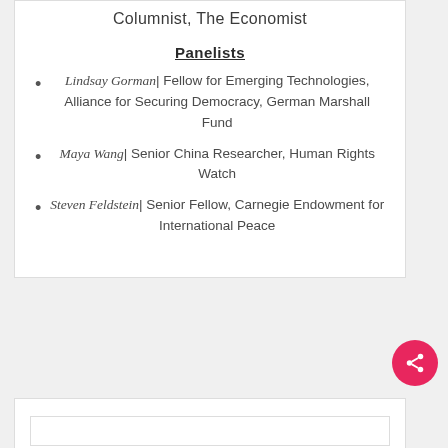Columnist, The Economist
Panelists
Lindsay Gorman| Fellow for Emerging Technologies, Alliance for Securing Democracy, German Marshall Fund
Maya Wang| Senior China Researcher, Human Rights Watch
Steven Feldstein| Senior Fellow, Carnegie Endowment for International Peace